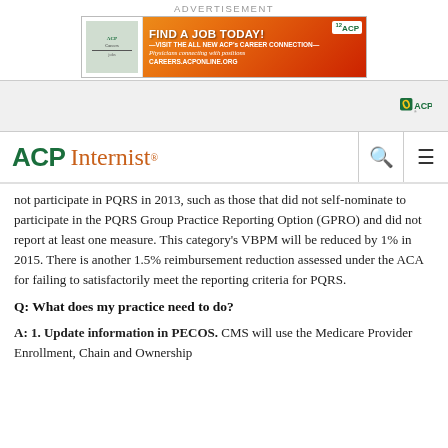ADVERTISEMENT
[Figure (illustration): ACP Career Connection advertisement banner: orange and red gradient background with text 'FIND A JOB TODAY! VISIT THE ALL NEW ACP's CAREER CONNECTION — Physicians connecting with positions. CAREERS.ACPONLINE.ORG' and ACP logo.]
[Figure (logo): ACP (American College of Physicians) navigation logo in green on light grey bar.]
ACP Internist
not participate in PQRS in 2013, such as those that did not self-nominate to participate in the PQRS Group Practice Reporting Option (GPRO) and did not report at least one measure. This category's VBPM will be reduced by 1% in 2015. There is another 1.5% reimbursement reduction assessed under the ACA for failing to satisfactorily meet the reporting criteria for PQRS.
Q: What does my practice need to do?
A: 1. Update information in PECOS. CMS will use the Medicare Provider Enrollment, Chain and Ownership